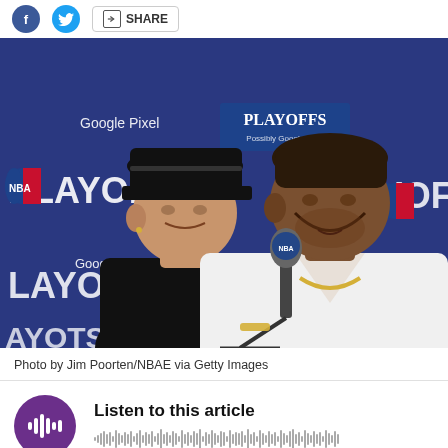[Figure (other): Social share bar with Facebook, Twitter icons and SHARE button]
[Figure (photo): Two NBA players at a post-game press conference in front of NBA Playoffs / Google Pixel backdrop. One player wears a black cap and black shirt; the other wears a white sweater with a gold chain. An NBA microphone is visible in the foreground.]
Photo by Jim Poorten/NBAE via Getty Images
[Figure (infographic): Audio player widget with purple circular icon showing sound bars and the text 'Listen to this article' with a waveform visualization below]